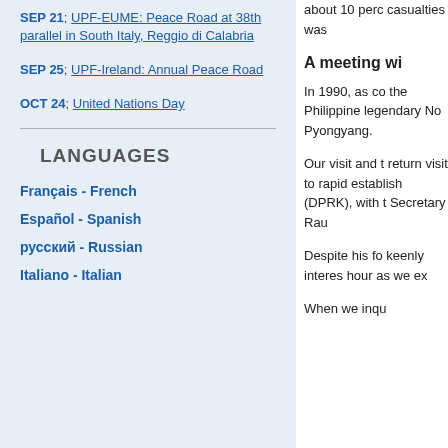SEP 21; UPF-EUME: Peace Road at 38th parallel in South Italy, Reggio di Calabria
SEP 25; UPF-Ireland: Annual Peace Road
OCT 24; United Nations Day
LANGUAGES
Français - French
Español - Spanish
русский - Russian
Italiano - Italian
about 10 perc casualties was
A meeting wi
In 1990, as co the Philippine legendary No Pyongyang.
Our visit and t return visit to rapid establish (DPRK), with t Secretary Rau
Despite his fo keenly interes hour as we ex
When we inqu